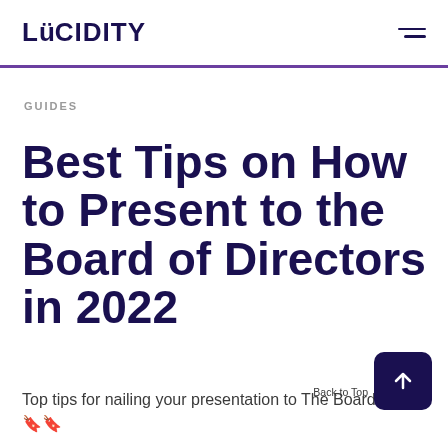LUCIDITY
GUIDES
Best Tips on How to Present to the Board of Directors in 2022
Top tips for nailing your presentation to The Board 🔖🔖
Back to Top